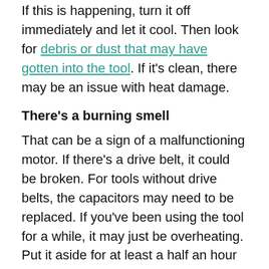If this is happening, turn it off immediately and let it cool. Then look for debris or dust that may have gotten into the tool. If it's clean, there may be an issue with heat damage.
There's a burning smell
That can be a sign of a malfunctioning motor. If there's a drive belt, it could be broken. For tools without drive belts, the capacitors may need to be replaced. If you've been using the tool for a while, it may just be overheating. Put it aside for at least a half an hour and try again.
There's a high-pitched screeching noise
Make sure the tool is adequately lubricated. If it is, then look at the gears Your gear switch may be stuck.